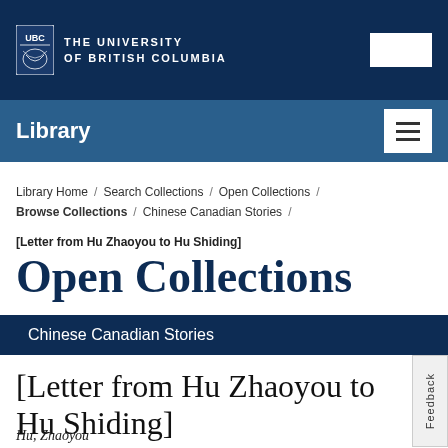THE UNIVERSITY OF BRITISH COLUMBIA
Library
Library Home / Search Collections / Open Collections / Browse Collections / Chinese Canadian Stories /
[Letter from Hu Zhaoyou to Hu Shiding]
Open Collections
Chinese Canadian Stories
[Letter from Hu Zhaoyou to Hu Shiding]
Hu, Zhaoyou